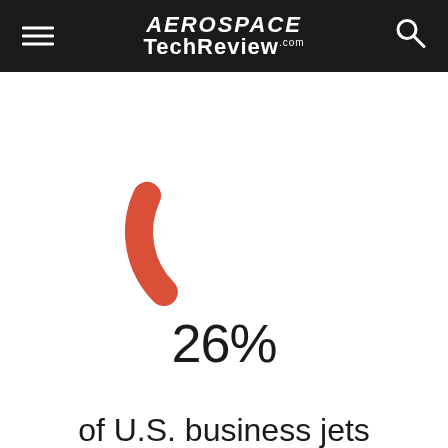AEROSPACE TechReview.com
[Figure (donut-chart): Partial donut/arc chart in red showing 26%]
26%
of U.S. business jets